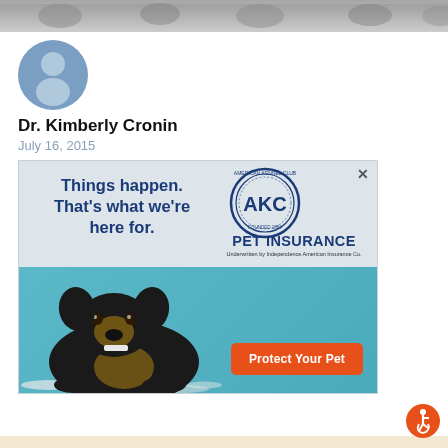[Figure (photo): Header banner showing cats and dogs on white background]
[Figure (illustration): User profile avatar - generic person silhouette in blue circle]
Dr. Kimberly Cronin
July 16, 2015
[Figure (other): AKC Pet Insurance advertisement featuring a Rottweiler puppy. Text reads: Things happen. That's what we're here for. PET INSURANCE Underwritten by Independence American Insurance Co. Button: Protect Your Pet]
[Figure (illustration): Accessibility icon button in orange circle at bottom right]